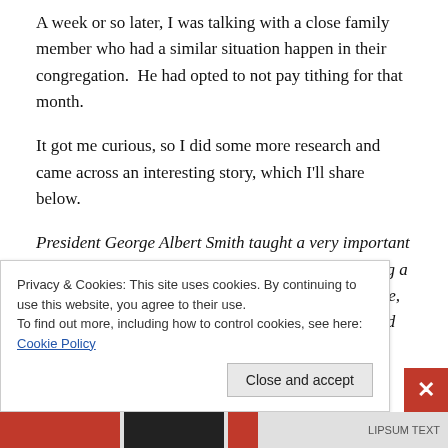A week or so later, I was talking with a close family member who had a similar situation happen in their congregation.  He had opted to not pay tithing for that month.
It got me curious, so I did some more research and came across an interesting story, which I'll share below.
President George Albert Smith taught a very important lesson on the disposition of tithes. He told of inviting a boyhood friend, whom he had not seen for some time, to accompany him to a stake conference.  This friend had
Privacy & Cookies: This site uses cookies. By continuing to use this website, you agree to their use.
To find out more, including how to control cookies, see here: Cookie Policy
Close and accept